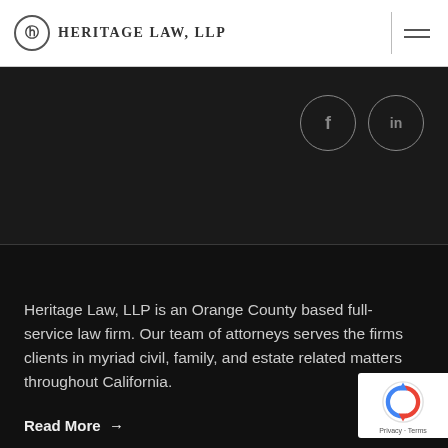HERITAGE LAW, LLP
[Figure (logo): Heritage Law LLP logo with circular emblem and firm name]
[Figure (illustration): Social media icons: Facebook (f) and LinkedIn (in) in circular outlines on dark background]
Heritage Law, LLP is an Orange County based full-service law firm. Our team of attorneys serves the firms clients in myriad civil, family, and estate related matters throughout California.
Read More →